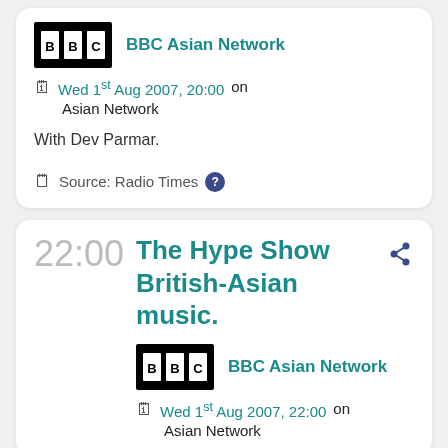[Figure (logo): BBC logo black box with BBC text in white]
BBC Asian Network
Wed 1st Aug 2007, 20:00 on Asian Network
With Dev Parmar.
Source: Radio Times
22:00
The Hype Show British-Asian music.
[Figure (logo): BBC logo black box with BBC text in white]
BBC Asian Network
Wed 1st Aug 2007, 22:00 on Asian Network